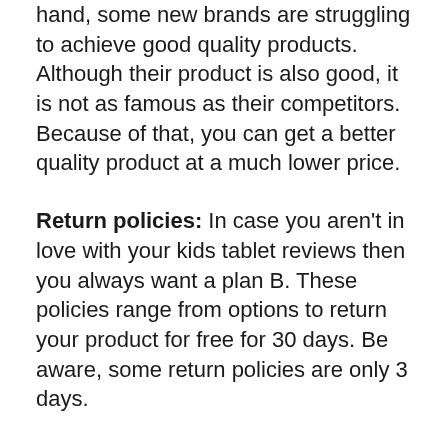hand, some new brands are struggling to achieve good quality products. Although their product is also good, it is not as famous as their competitors. Because of that, you can get a better quality product at a much lower price.
Return policies: In case you aren't in love with your kids tablet reviews then you always want a plan B. These policies range from options to return your product for free for 30 days. Be aware, some return policies are only 3 days.
Features: Ask yourself, what accessories are a must-have in a kids tablet reviews ? Some features are necessities, while others